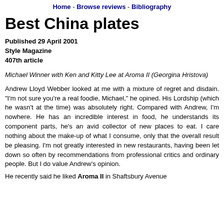Home - Browse reviews - Bibliography
Best China plates
Published 29 April 2001
Style Magazine
407th article
Michael Winner with Ken and Kitty Lee at Aroma II (Georgina Hristova)
Andrew Lloyd Webber looked at me with a mixture of regret and disdain. "I'm not sure you're a real foodie, Michael," he opined. His Lordship (which he wasn't at the time) was absolutely right. Compared with Andrew, I'm nowhere. He has an incredible interest in food, he understands its component parts, he's an avid collector of new places to eat. I care nothing about the make-up of what I consume, only that the overall result be pleasing. I'm not greatly interested in new restaurants, having been let down so often by recommendations from professional critics and ordinary people. But I do value Andrew's opinion.
He recently said he liked Aroma II in Shaftsbury Avenue…